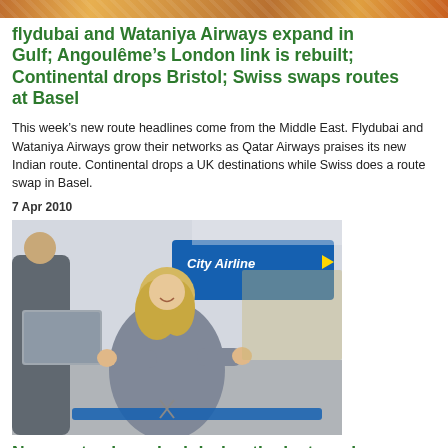[Figure (photo): Top banner photo showing colorful event/crowd scene]
flydubai and Wataniya Airways expand in Gulf; Angoulême's London link is rebuilt; Continental drops Bristol; Swiss swaps routes at Basel
This week's new route headlines come from the Middle East. Flydubai and Wataniya Airways grow their networks as Qatar Airways praises its new Indian route. Continental drops a UK destinations while Swiss does a route swap in Basel.
7 Apr 2010
[Figure (photo): Photo of woman cutting a ribbon at a City Airline event, with a City Airline banner in the background]
New routes launched during the last week (Tuesday 30 March – Monday 5 April):